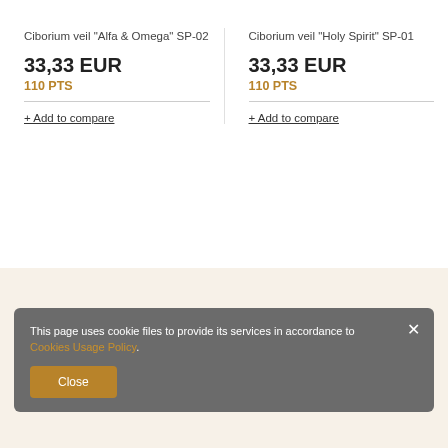Ciborium veil "Alfa & Omega" SP-02
33,33 EUR
110 PTS
+ Add to compare
Ciborium veil "Holy Spirit" SP-01
33,33 EUR
110 PTS
+ Add to compare
This page uses cookie files to provide its services in accordance to Cookies Usage Policy.
Close